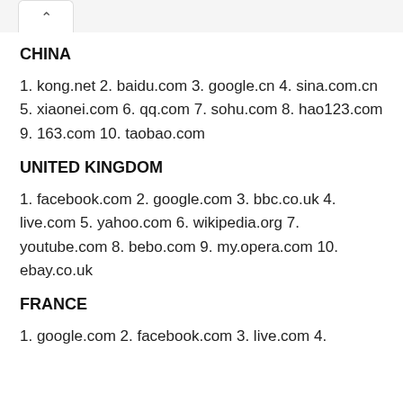CHINA
1. kong.net 2. baidu.com 3. google.cn 4. sina.com.cn 5. xiaonei.com 6. qq.com 7. sohu.com 8. hao123.com 9. 163.com 10. taobao.com
UNITED KINGDOM
1. facebook.com 2. google.com 3. bbc.co.uk 4. live.com 5. yahoo.com 6. wikipedia.org 7. youtube.com 8. bebo.com 9. my.opera.com 10. ebay.co.uk
FRANCE
1. google.com 2. facebook.com 3. live.com 4.